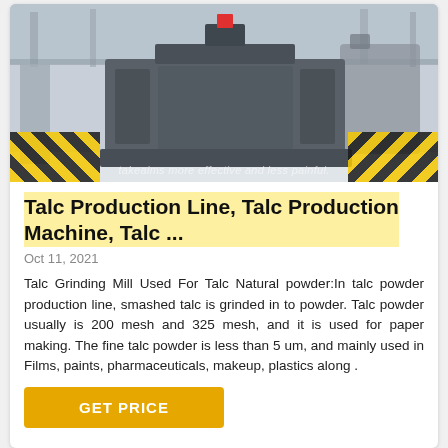[Figure (photo): Industrial grinding mill machine on a factory floor with yellow and black hazard stripe barriers on both sides]
takeaims more effective and less painful.
Talc Production Line, Talc Production Machine, Talc ...
Oct 11, 2021
Talc Grinding Mill Used For Talc Natural powder:In talc powder production line, smashed talc is grinded in to powder. Talc powder usually is 200 mesh and 325 mesh, and it is used for paper making. The fine talc powder is less than 5 um, and mainly used in Films, paints, pharmaceuticals, makeup, plastics along .
GET PRICE